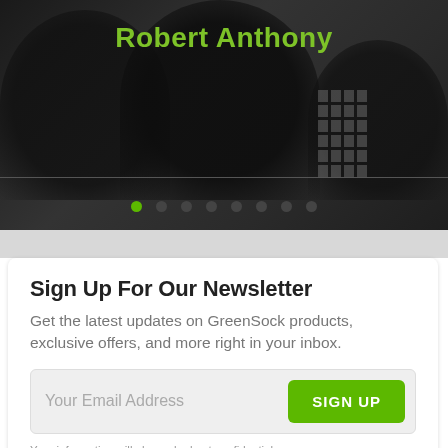[Figure (screenshot): Dark hero banner with silhouetted people in background and a building/grid graphic on the right side]
Robert Anthony
[Figure (other): Carousel navigation dots — one active green dot followed by seven dark/inactive dots]
Sign Up For Our Newsletter
Get the latest updates on GreenSock products, exclusive offers, and more right in your inbox.
Your Email Address
SIGN UP
Your information will always be kept confidential.